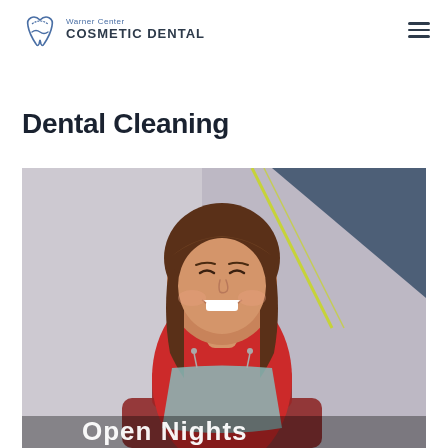Warner Center COSMETIC DENTAL
Dental Cleaning
[Figure (photo): A smiling woman with brown hair sitting in a dental chair, wearing a red top, holding a dental bib. Decorative geometric elements (yellow-green lines, dark blue triangle) visible in the upper right. Text 'Open Nights' partially visible at the bottom.]